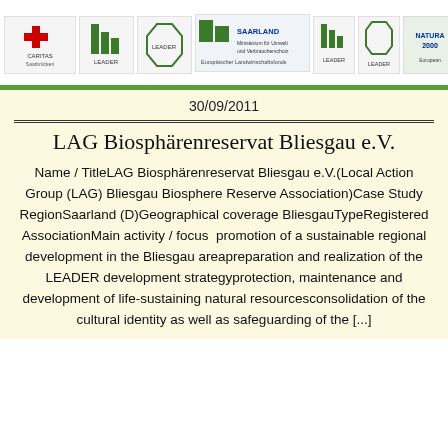[Figure (logo): Header banner with organization logos including Caritas and Saarland logos, with a green bar below]
30/09/2011
LAG Biosphärenreservat Bliesgau e.V.
Name / TitleLAG Biosphärenreservat Bliesgau e.V.(Local Action Group (LAG) Bliesgau Biosphere Reserve Association)Case Study RegionSaarland (D)Geographical coverage BliesgauTypeRegistered AssociationMain activity / focus  promotion of a sustainable regional development in the Bliesgau areapreparation and realization of the LEADER development strategyprotection, maintenance and development of life-sustaining natural resourcesconsolidation of the cultural identity as well as safeguarding of the [...]